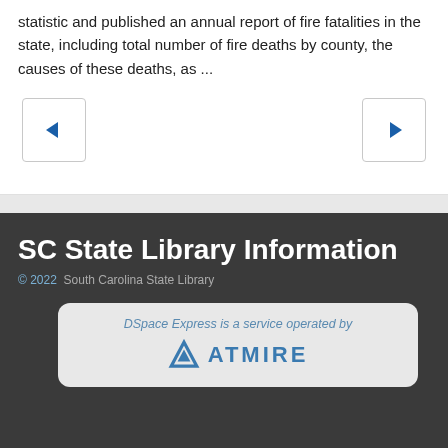statistic and published an annual report of fire fatalities in the state, including total number of fire deaths by county, the causes of these deaths, as ...
[Figure (other): Navigation buttons: left arrow (back) and right arrow (forward)]
SC State Library Information
© 2022  South Carolina State Library
[Figure (logo): DSpace Express is a service operated by ATMIRE logo with triangle icon]